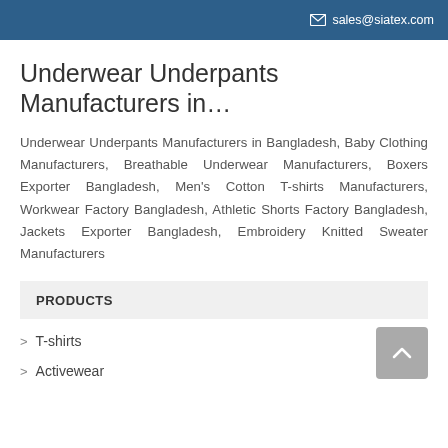sales@siatex.com
Underwear Underpants Manufacturers in…
Underwear Underpants Manufacturers in Bangladesh, Baby Clothing Manufacturers, Breathable Underwear Manufacturers, Boxers Exporter Bangladesh, Men's Cotton T-shirts Manufacturers, Workwear Factory Bangladesh, Athletic Shorts Factory Bangladesh, Jackets Exporter Bangladesh, Embroidery Knitted Sweater Manufacturers
PRODUCTS
> T-shirts
> Activewear